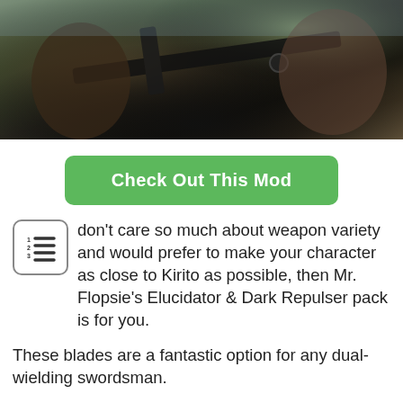[Figure (screenshot): A dark screenshot from a video game (Skyrim mod) showing characters in combat with weapons, set in a natural outdoor environment with hills and trees.]
Check Out This Mod
don't care so much about weapon variety and would prefer to make your character as close to Kirito as possible, then Mr. Flopsie's Elucidator & Dark Repulser pack is for you.
These blades are a fantastic option for any dual-wielding swordsman.
Both the Elucidator and Dark Repulser are exquisitely